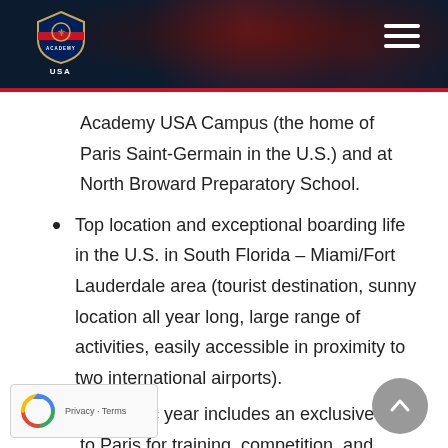[Figure (logo): PSG Academy USA shield logo with hamburger menu on dark navy header with red speckle texture and red bottom border]
Academy USA Campus (the home of Paris Saint-Germain in the U.S.) and at North Broward Preparatory School.
Top location and exceptional boarding life in the U.S. in South Florida – Miami/Fort Lauderdale area (tourist destination, sunny location all year long, large range of activities, easily accessible in proximity to two international airports).
Academic year includes an exclusive trip to Paris for training, competition, and cultural